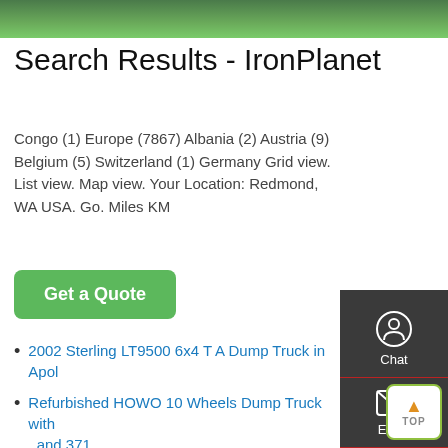[Figure (photo): Green banner/image strip at top of page]
Search Results - IronPlanet
Congo (1) Europe (7867) Albania (2) Austria (9) Belgium (5) Switzerland (1) Germany Grid view. List view. Map view. Your Location: Redmond, WA USA. Go. Miles KM
Get a Quote
2002 Sterling LT9500 6x4 T A Dump Truck in Apol...
Refurbished HOWO 10 Wheels Dump Truck with ... and 371
Second-handFAW J6pheavy Truck 350 HP 6X4 Tra...
Sinotruk HOWO Heavy Duty 4X2 Dump Tipper T... for Sale
Second-hand 2006 INTERNATIONAL 7600 Tipper Truck
Second-hand Sinotruk A7 6X4 Tipper Truck Heavy Duty Truck